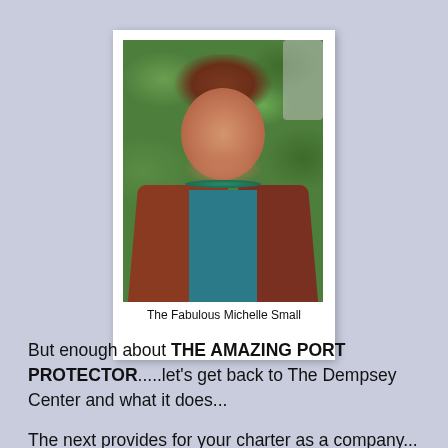[Figure (photo): Polaroid-style photo of a smiling woman with auburn hair wearing a rust-colored cardigan and teal necklace, standing in front of green foliage. Caption reads: The Fabulous Michelle Small]
The Fabulous Michelle Small
But enough about THE AMAZING PORT PROTECTOR.....let's get back to The Dempsey Center and what it does...
The next provides for your charter as a company...